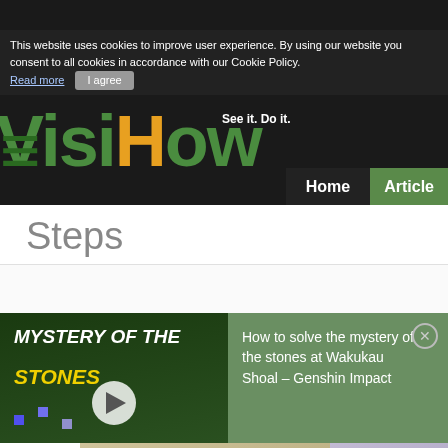VisiHow — See it. Do it.
This website uses cookies to improve user experience. By using our website you consent to all cookies in accordance with our Cookie Policy.
Read more  I agree
Home  Articles
Steps
8  You can also tap on the hot-dog menu in the uppe
[Figure (photo): Screenshot of Samsung phone screen]
[Figure (screenshot): Video overlay: Mystery of the Stones with play button and green background]
How to solve the mystery of the stones at Wakukau Shoal – Genshin Impact
[Figure (photo): Bottom image strip showing Chinese text document and lavender colored image with play button]